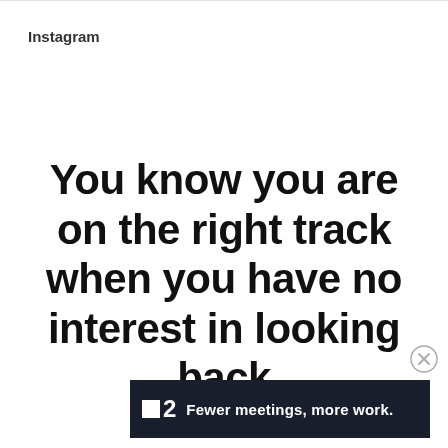Instagram
You know you are on the right track when you have no interest in looking back
Advertisements
[Figure (other): Advertisement banner for Fewer meetings, more work - P2 app logo on dark background]